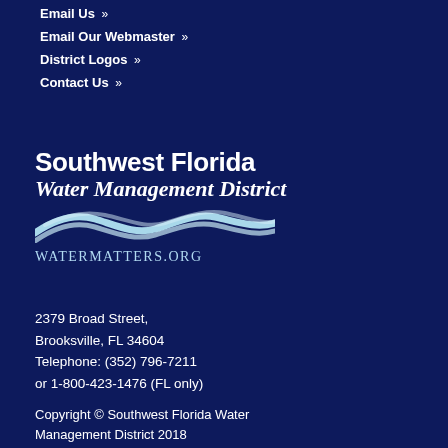Email Us »
Email Our Webmaster »
District Logos »
Contact Us »
[Figure (logo): Southwest Florida Water Management District logo with wave graphic and WaterMatters.org text]
2379 Broad Street,
Brooksville, FL 34604
Telephone: (352) 796-7211
or 1-800-423-1476 (FL only)
Copyright © Southwest Florida Water Management District 2018